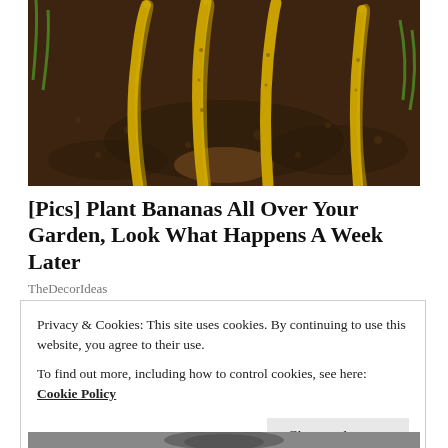[Figure (photo): Banana peels stuck vertically into dark garden soil, showing yellow banana peels planted in dirt]
[Pics] Plant Bananas All Over Your Garden, Look What Happens A Week Later
TheDecorIdeas
Privacy & Cookies: This site uses cookies. By continuing to use this website, you agree to their use.
To find out more, including how to control cookies, see here: Cookie Policy
Close and accept
[Figure (photo): Partial photo at bottom of page, appears to show a person]